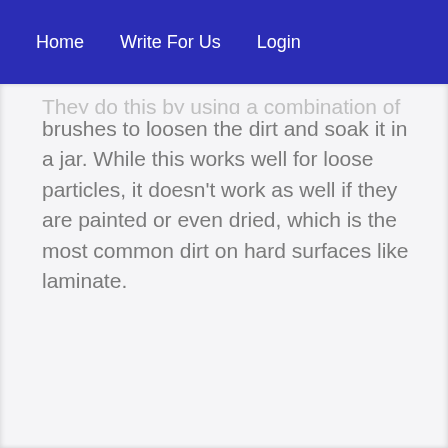Home   Write For Us   Login
They do this by using a combination of rotating brushes to loosen the dirt and soak it in a jar. While this works well for loose particles, it doesn't work as well if they are painted or even dried, which is the most common dirt on hard surfaces like laminate.